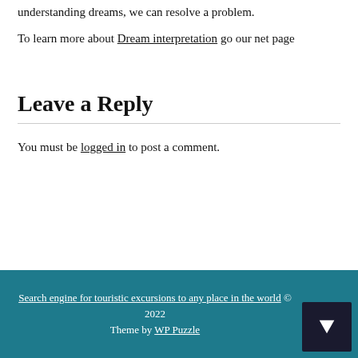understanding dreams, we can resolve a problem.
To learn more about Dream interpretation go our net page
Leave a Reply
You must be logged in to post a comment.
Search engine for touristic excursions to any place in the world © 2022 Theme by WP Puzzle